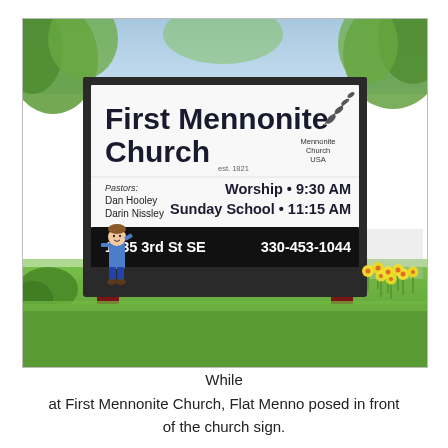[Figure (photo): Photograph of the First Mennonite Church outdoor sign mounted on dark red wooden posts. The sign has a white upper section with the church name 'First Mennonite Church' in bold dark letters, the Mennonite Church USA logo in the upper right, pastors' names (Dan Hooley, Darin Nissley), service times (Worship 9:30 AM, Sunday School 11:15 AM), and a dark bottom bar with the address '1935 3rd St SE' and phone '330-453-1044'. A cartoon child figure (Flat Menno) is posed in front of the sign. Green grass, trees and yellow daffodils are visible in the background.]
While at First Mennonite Church, Flat Menno posed in front of the church sign.